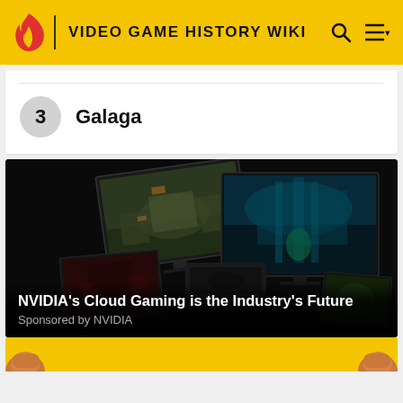VIDEO GAME HISTORY WIKI
3  Galaga
[Figure (photo): Advertisement showing multiple gaming monitors and devices displaying video games on a dark background. NVIDIA Cloud Gaming promotional image.]
NVIDIA's Cloud Gaming is the Industry's Future
Sponsored by NVIDIA
[Figure (photo): Partial view of yellow background with fists/hands visible at bottom of page.]